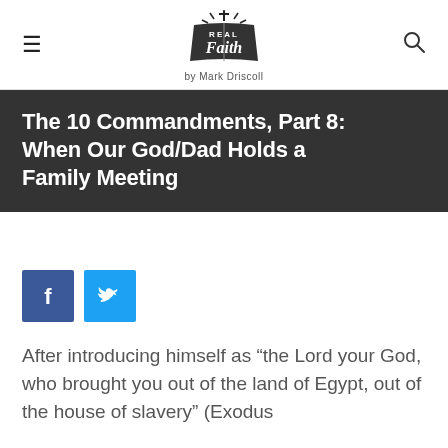Real Faith by Mark Driscoll
The 10 Commandments, Part 8: When Our God/Dad Holds a Family Meeting
[Figure (logo): Facebook share button icon (blue square with white f)]
[Figure (logo): Twitter share button icon (blue square with white bird)]
After introducing himself as “the Lord your God, who brought you out of the land of Egypt, out of the house of slavery” (Exodus